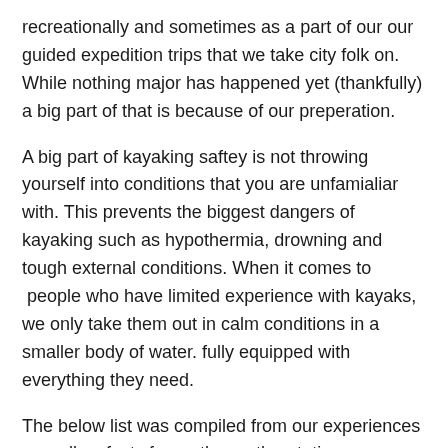recreationally and sometimes as a part of our our guided expedition trips that we take city folk on. While nothing major has happened yet (thankfully) a big part of that is because of our preperation.
A big part of kayaking saftey is not throwing yourself into conditions that you are unfamialiar with. This prevents the biggest dangers of kayaking such as hypothermia, drowning and tough external conditions. When it comes to  people who have limited experience with kayaks, we only take them out in calm conditions in a smaller body of water. fully equipped with everything they need.
The below list was compiled from our experiences as well as facts from other authoratative sources to give you a birds eye view on what to look for and how to avoid getting yourself caught in tough situations. For more information take a look at